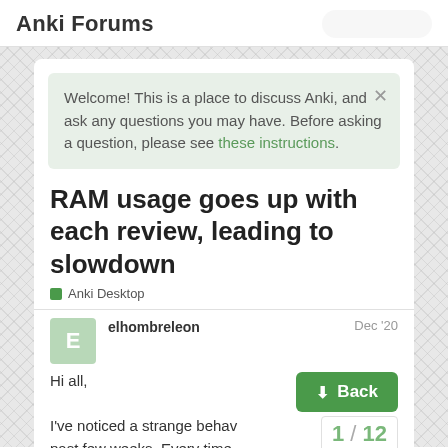Anki Forums
Welcome! This is a place to discuss Anki, and ask any questions you may have. Before asking a question, please see these instructions.
RAM usage goes up with each review, leading to slowdown
Anki Desktop
elhombreleon   Dec '20
Hi all,
I've noticed a strange behav
past few weeks. Every time